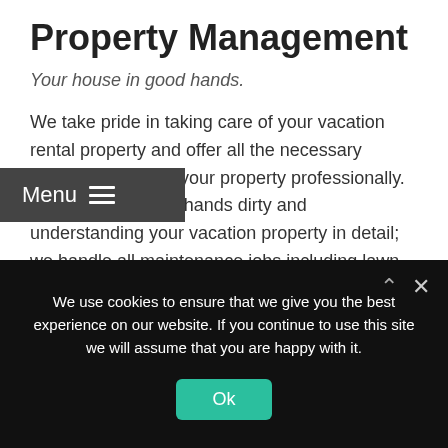Property Management
Your house in good hands.
We take pride in taking care of your vacation rental property and offer all the necessary services for letting your property professionally. We like getting our hands dirty and understanding your vacation property in detail; we handle all maintenance jobs including lawn mowing, pool
We use cookies to ensure that we give you the best experience on our website. If you continue to use this site we will assume that you are happy with it.